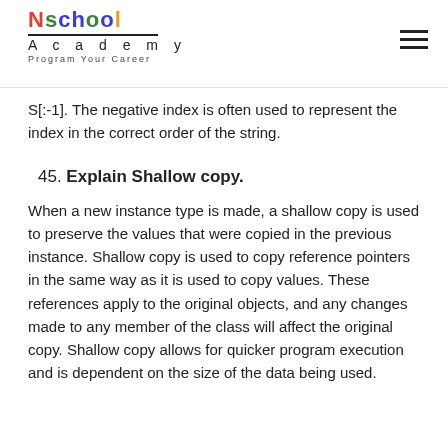Nschool Academy — Program Your Career
S[:-1]. The negative index is often used to represent the index in the correct order of the string.
45. Explain Shallow copy.
When a new instance type is made, a shallow copy is used to preserve the values that were copied in the previous instance. Shallow copy is used to copy reference pointers in the same way as it is used to copy values. These references apply to the original objects, and any changes made to any member of the class will affect the original copy. Shallow copy allows for quicker program execution and is dependent on the size of the data being used.